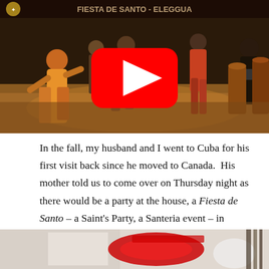[Figure (screenshot): YouTube video thumbnail showing people dancing at a Santeria event, with a large red YouTube play button overlay in the center. Background shows dancers in colorful clothing and musicians.]
In the fall, my husband and I went to Cuba for his first visit back since he moved to Canada. His mother told us to come over on Thursday night as there would be a party at the house, a Fiesta de Santo – a Saint's Party, a Santeria event – in honour of Eleggua, the Trickster, dweller of crossroads, opener of gates and pathways.
[Figure (photo): Partial image at the bottom of the page showing colorful red, black and white decorative items, partially cropped.]